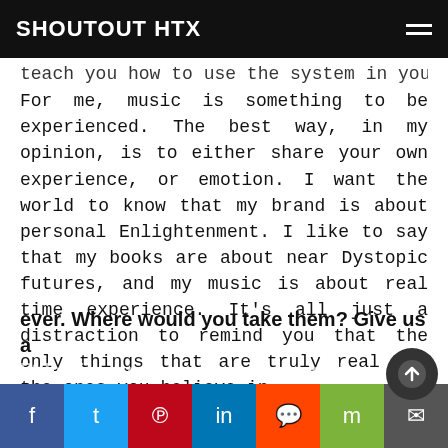SHOUTOUT HTX
teach you how to use the system in your favor. For me, music is something to be experienced. The best way, in my opinion, is to either share your own experience, or emotion. I want the world to know that my brand is about personal Enlightenment. I like to say that my books are about near Dystopic futures, and my music is about real time experience. It’s all just a distraction to remind you that the only things that are truly real are the ones you believe in.
Let’s say your best friend was visiting the area and you wanted to show them the best time ever. Where would you take them? Give us a little itinerary – say it was a week long trip.